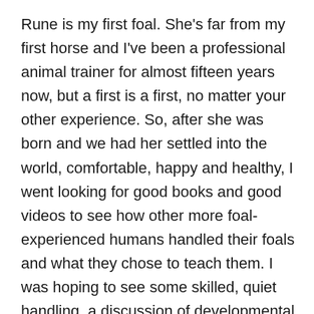Rune is my first foal. She's far from my first horse and I've been a professional animal trainer for almost fifteen years now, but a first is a first, no matter your other experience. So, after she was born and we had her settled into the world, comfortable, happy and healthy, I went looking for good books and good videos to see how other more foal-experienced humans handled their foals and what they chose to teach them. I was hoping to see some skilled, quiet handling, a discussion of developmental stages and age-appropriate skills to teach. These are things that are readily available if you are raising children or puppies, so I assumed there would be resources for foals too. I found one or two basic resources, a solid general set of guidelines from the ASPCA and some nice videos on youtube from a trainer named Ellen Ofstad, but aside from those it has been slim pickings and a plethora of